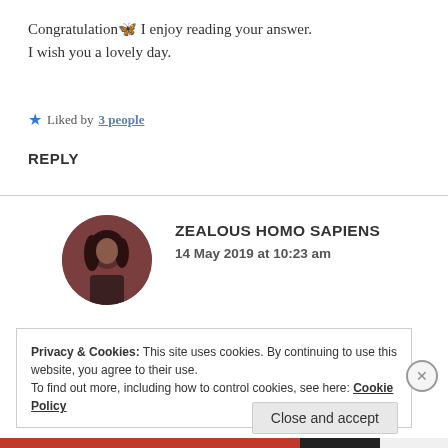Congratulation🦋 I enjoy reading your answer. I wish you a lovely day.
★ Liked by 3 people
REPLY
[Figure (photo): Circular avatar photo of a person with dark hair, wearing a jacket, with a reddish-brown tint]
ZEALOUS HOMO SAPIENS
14 May 2019 at 10:23 am
Privacy & Cookies: This site uses cookies. By continuing to use this website, you agree to their use.
To find out more, including how to control cookies, see here: Cookie Policy
Close and accept